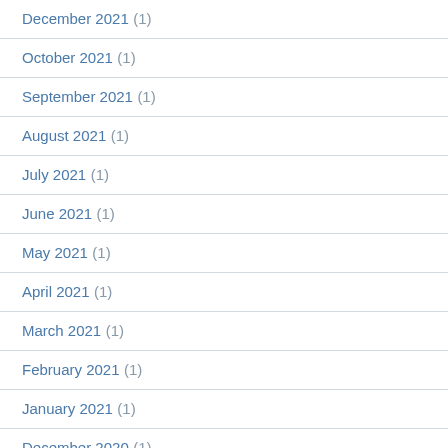December 2021 (1)
October 2021 (1)
September 2021 (1)
August 2021 (1)
July 2021 (1)
June 2021 (1)
May 2021 (1)
April 2021 (1)
March 2021 (1)
February 2021 (1)
January 2021 (1)
December 2020 (1)
November 2020 (1)